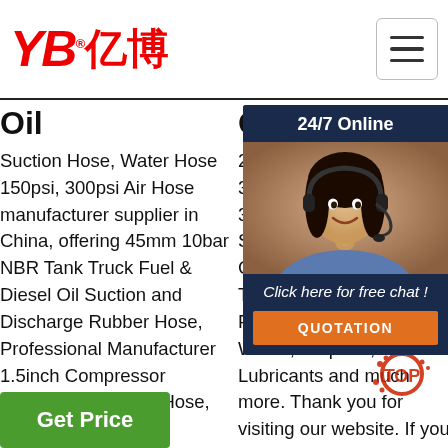YB亿博 logo with navigation hamburger menu
Oil
Suction Hose, Water Hose 150psi, 300psi Air Hose manufacturer supplier in China, offering 45mm 10bar NBR Tank Truck Fuel & Diesel Oil Suction and Discharge Rubber Hose, Professional Manufacturer 1.5inch Compressor Flexible Rubber Air Hose, En856 4sh …
Of Tanks ...
2020-3-3u2002·u20022020-3-3u2002·u2002Tank Truck Service and Sales Inc. is a Custom Manufacturer of Tank Trucks for Refined Fuel, Heating Oil, Liquid Waste, Propane, Lubricants and much more. Thank you for visiting our website. If you have any questions concerning New Tank Vehicles, our
Framework
201 17u 9- 17u TAN HEA Allia has line com tra industry with reliable new and remanufactured parts and accessories all makes and all models 1 to keep trucks and buses on
[Figure (photo): Customer service representative woman smiling with headset, part of 24/7 online chat widget]
24/7 Online
Click here for free chat !
QUOTATION
Get Price